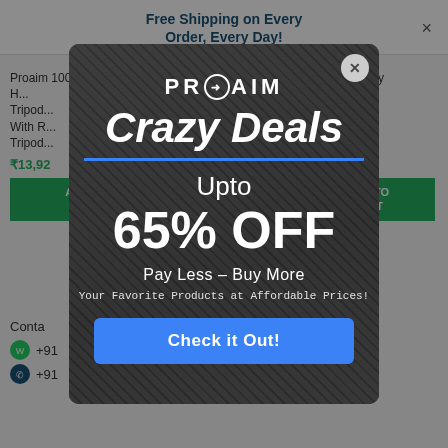Free Shipping on Every Order, Every Day!
Proaim 100mm Bowl Head Tripod With R Tripod
Proaim Heavy-
Proaim Heavy Rubber der for piked Fe s
₹13,92
00
AD
OD TO
C
ART
Conta
+91
+91
[Figure (screenshot): Proaim website product listing page showing camera tripod products with prices in Indian Rupees, green Add to Cart buttons, and contact information. A promotional modal popup overlays the page.]
PROAIM
Crazy Deals
Upto
65% OFF
Pay Less – Buy More
Your Favorite Products at Affordable Prices!
Check it Out!